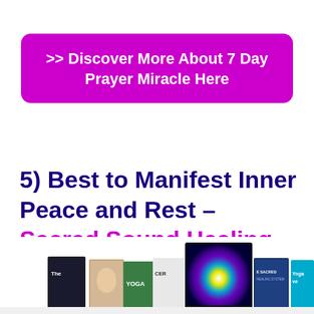>> Discover More About 7 Day Prayer Miracle Here
5) Best to Manifest Inner Peace and Rest – Sacred Sound Healing System
[Figure (photo): A collection of product book/DVD covers for Sacred Sound Healing System and related products, partially cut off at the bottom of the page.]